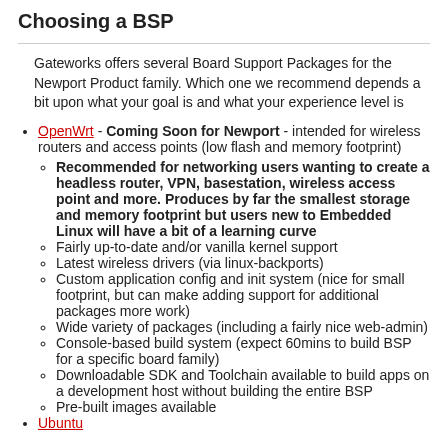Choosing a BSP
Gateworks offers several Board Support Packages for the Newport Product family. Which one we recommend depends a bit upon what your goal is and what your experience level is
OpenWrt - Coming Soon for Newport - intended for wireless routers and access points (low flash and memory footprint)
Recommended for networking users wanting to create a headless router, VPN, basestation, wireless access point and more. Produces by far the smallest storage and memory footprint but users new to Embedded Linux will have a bit of a learning curve
Fairly up-to-date and/or vanilla kernel support
Latest wireless drivers (via linux-backports)
Custom application config and init system (nice for small footprint, but can make adding support for additional packages more work)
Wide variety of packages (including a fairly nice web-admin)
Console-based build system (expect 60mins to build BSP for a specific board family)
Downloadable SDK and Toolchain available to build apps on a development host without building the entire BSP
Pre-built images available
Ubuntu